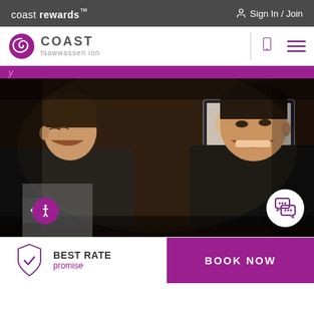coast rewards™  Sign In / Join
COAST tsawwassen inn
[Figure (photo): Two young men in black shirts laughing and talking at a bar, one holding a glass of beer, TV screen visible in background]
BEST RATE promise
BOOK NOW